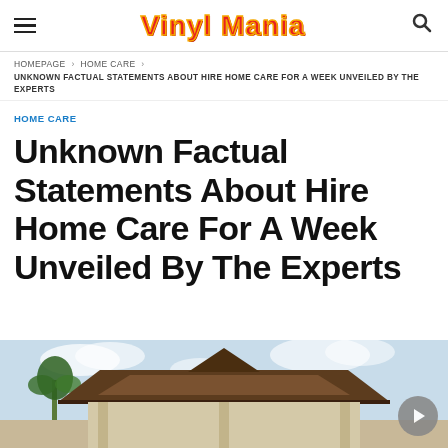Vinyl Mania
HOMEPAGE › HOME CARE › UNKNOWN FACTUAL STATEMENTS ABOUT HIRE HOME CARE FOR A WEEK UNVEILED BY THE EXPERTS
HOME CARE
Unknown Factual Statements About Hire Home Care For A Week Unveiled By The Experts
[Figure (photo): Exterior photo of a house with a gazebo/pergola roof visible against a partly cloudy sky, with palm trees in the background. A circular play button overlay is in the lower right corner.]